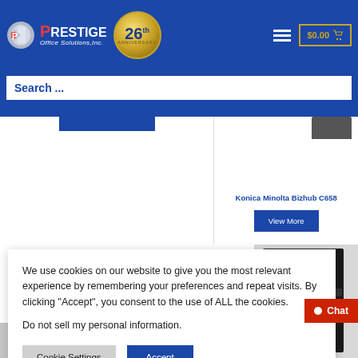Prestige Office Solutions, Inc. - 26th Anniversary - $0.00 cart
Search ...
Konica Minolta Bizhub C658
View More
We use cookies on our website to give you the most relevant experience by remembering your preferences and repeat visits. By clicking “Accept”, you consent to the use of ALL the cookies.

Do not sell my personal information.
Cookie Settings
Accept
Chat